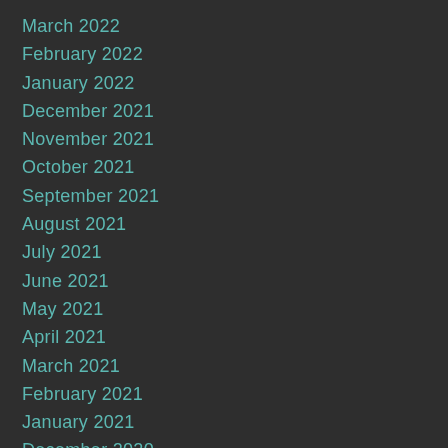March 2022
February 2022
January 2022
December 2021
November 2021
October 2021
September 2021
August 2021
July 2021
June 2021
May 2021
April 2021
March 2021
February 2021
January 2021
December 2020
November 2020
October 2020
September 2020
August 2020